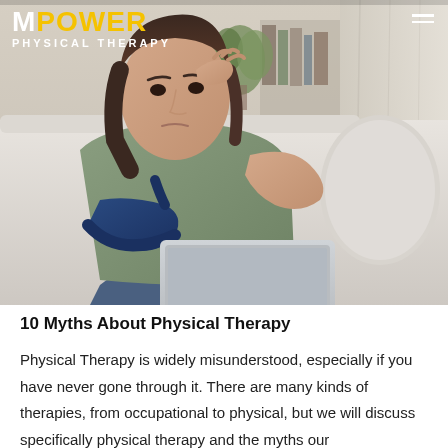[Figure (photo): A woman with a blue arm sling sitting on a couch, looking stressed while using a laptop, with the MpowerPhysical Therapy logo overlaid in the top-left corner.]
10 Myths About Physical Therapy
Physical Therapy is widely misunderstood, especially if you have never gone through it. There are many kinds of therapies, from occupational to physical, but we will discuss specifically physical therapy and the myths our